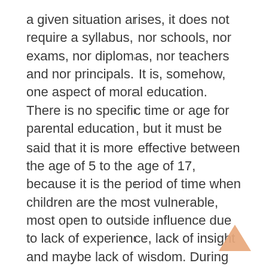a given situation arises, it does not require a syllabus, nor schools, nor exams, nor diplomas, nor teachers and nor principals. It is, somehow, one aspect of moral education. There is no specific time or age for parental education, but it must be said that it is more effective between the age of 5 to the age of 17, because it is the period of time when children are the most vulnerable, most open to outside influence due to lack of experience, lack of insight and maybe lack of wisdom. During this period of time, parental education can play a decisive role in directing children, advising and helping them surmount difficulties and obstacles that the modern world, in its global format, puts in their way.
In this era of globalization, when the freedom on offer is too unreasonable and too irresponsible,